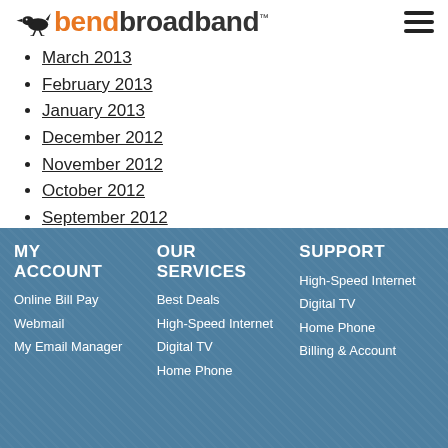bendbroadband
March 2013
February 2013
January 2013
December 2012
November 2012
October 2012
September 2012
August 2012
March 2012
MY ACCOUNT | OUR SERVICES | SUPPORT — Online Bill Pay, Webmail, My Email Manager | Best Deals, High-Speed Internet, Digital TV, Home Phone | High-Speed Internet, Digital TV, Home Phone, Billing & Account